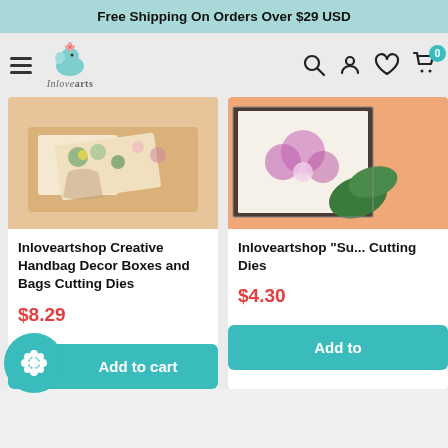Free Shipping On Orders Over $29 USD
[Figure (logo): InloveArts logo with teal elephant and stylized text 'Inlovearts']
Inloveartshop Creative Handbag Decor Boxes and Bags Cutting Dies
$8.29
Inloveartshop "Su... Cutting Dies
$4.30
Add to cart
Add to